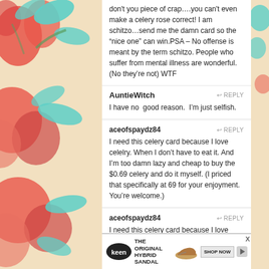don't you piece of crap….you can't even make a celery rose correct! I am schitzo…send me the damn card so the “nice one” can win.PSA – No offense is meant by the term schitzo. People who suffer from mental illness are wonderful. (No they’re not) WTF
AuntieWitch  ↩ REPLY
I have no  good reason.  I’m just selfish.
aceofspaydz84  ↩ REPLY
I need this celery card because I love celelry. When I don’t have to eat it. And I’m too damn lazy and cheap to buy the $0.69 celery and do it myself. (I priced that specifically at 69 for your enjoyment. You’re welcome.)
aceofspaydz84  ↩ REPLY
I need this celery card because I love celery. When I don’t have to eat it. And I’m too damn lazy and cheap to buy the $0.69 celery and do it myself. (I priced that
[Figure (infographic): Advertisement banner for Keen shoes: The Original Hybrid Sandal with logo, shoe image, and Shop Now button]